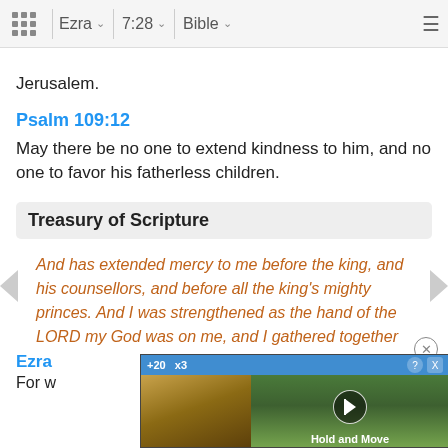Ezra 7:28 Bible
Jerusalem.
Psalm 109:12
May there be no one to extend kindness to him, and no one to favor his fatherless children.
Treasury of Scripture
And has extended mercy to me before the king, and his counsellors, and before all the king's mighty princes. And I was strengthened as the hand of the LORD my God was on me, and I gathered together out of Israel chief men to go up with me.
extended
Ezra
For w
[Figure (screenshot): Advertisement overlay showing a mobile game called 'Hold and Move' with a dark background, sports score bar, and outdoor nature imagery]